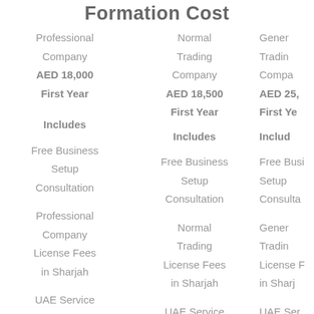Formation Cost
| Professional Company | Normal Trading Company | General Trading Company |
| --- | --- | --- |
| AED 18,000 First Year | AED 18,500 First Year | AED 25,000 First Year |
| Includes | Includes | Includes |
| Free Business Setup Consultation | Free Business Setup Consultation | Free Business Setup Consultation |
| Professional Company License Fees in Sharjah | Normal Trading License Fees in Sharjah | General Trading License Fees in Sharjah |
| UAE Service Agent | UAE Service Agent | UAE Service Agent |